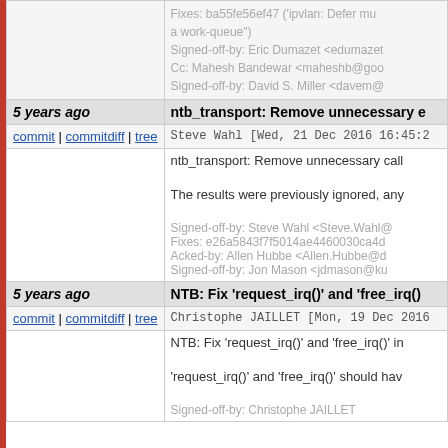Fixes: ba55fe56ef47 ('ipvlan: Defer multicast configuration into a work-queue')
Signed-off-by: Eric Dumazet <edumazet@...>
Cc: Mahesh Bandewar <maheshb@goo...>
Signed-off-by: David S. Miller <davem@...>
5 years ago | ntb_transport: Remove unnecessary c...
commit | commitdiff | tree   Steve Wahl [Wed, 21 Dec 2016 16:45:2...]
ntb_transport: Remove unnecessary call...

The results were previously ignored, any...

Signed-off-by: Steve Wahl <Steve.Wahl@...>
Fixes: e26a5843f7f5014ae4460030ca4d...
Acked-by: Allen Hubbe <Allen.Hubbe@d...>
Signed-off-by: Jon Mason <jdmason@ku...>
5 years ago | NTB: Fix 'request_irq()' and 'free_irq()...
commit | commitdiff | tree   Christophe JAILLET [Mon, 19 Dec 2016...
NTB: Fix 'request_irq()' and 'free_irq()' in...

'request_irq()' and 'free_irq()' should hav...

Signed-off-by: Christophe JAILLET...